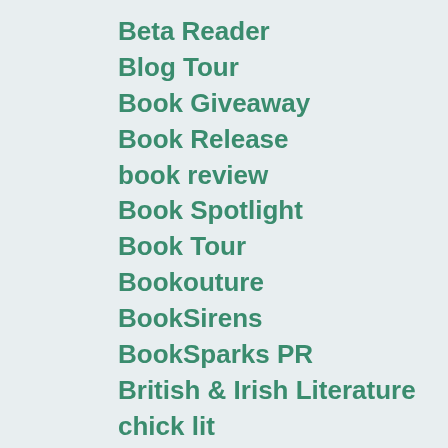Beta Reader
Blog Tour
Book Giveaway
Book Release
book review
Book Spotlight
Book Tour
Bookouture
BookSirens
BookSparks PR
British & Irish Literature
chick lit
Children's Scary
Comedy
Contemporary Fiction
Contemporary Romance
Cover Reveal